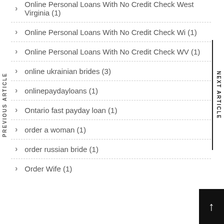Online Personal Loans With No Credit Check West Virginia (1)
Online Personal Loans With No Credit Check Wi (1)
Online Personal Loans With No Credit Check WV (1)
online ukrainian brides (3)
onlinepaydayloans (1)
Ontario fast payday loan (1)
order a woman (1)
order russian bride (1)
Order Wife (1)